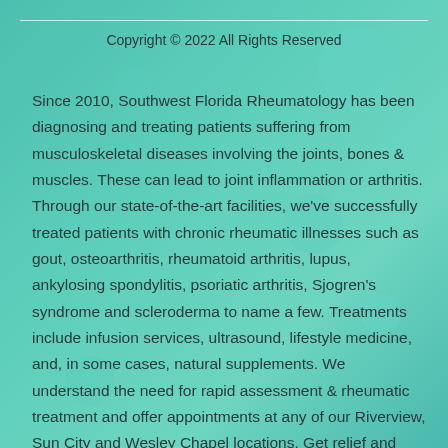Copyright © 2022 All Rights Reserved
Since 2010, Southwest Florida Rheumatology has been diagnosing and treating patients suffering from musculoskeletal diseases involving the joints, bones & muscles. These can lead to joint inflammation or arthritis. Through our state-of-the-art facilities, we've successfully treated patients with chronic rheumatic illnesses such as gout, osteoarthritis, rheumatoid arthritis, lupus, ankylosing spondylitis, psoriatic arthritis, Sjogren's syndrome and scleroderma to name a few. Treatments include infusion services, ultrasound, lifestyle medicine, and, in some cases, natural supplements. We understand the need for rapid assessment & rheumatic treatment and offer appointments at any of our Riverview, Sun City and Wesley Chapel locations. Get relief and ease the burden of arthritis disease and call to schedule your visit now.